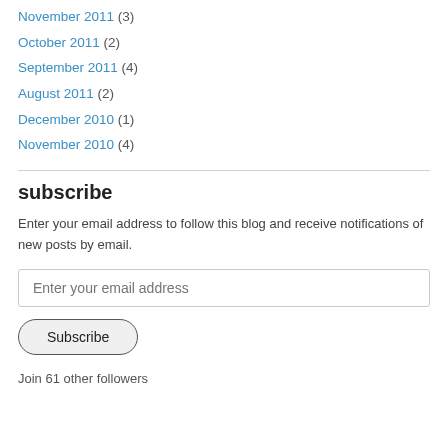November 2011 (3)
October 2011 (2)
September 2011 (4)
August 2011 (2)
December 2010 (1)
November 2010 (4)
subscribe
Enter your email address to follow this blog and receive notifications of new posts by email.
Enter your email address
Subscribe
Join 61 other followers